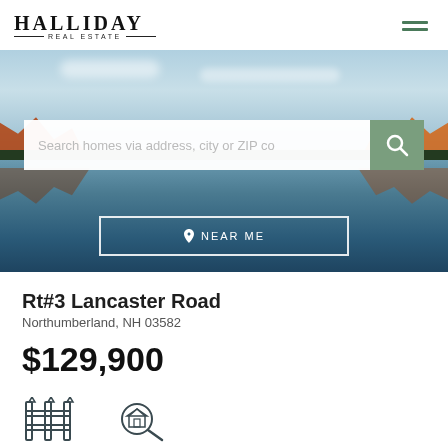HALLIDAY REAL ESTATE
[Figure (photo): Scenic landscape photo showing a lake or pond with autumn-colored trees reflected in still water, blue sky above. Overlaid with a search box reading 'Search homes via address, city or ZIP co' with a green search button, and a 'NEAR ME' button below.]
Rt#3 Lancaster Road
Northumberland, NH 03582
$129,900
[Figure (illustration): Property feature icons: a fence/gate icon and a magnifying glass icon]